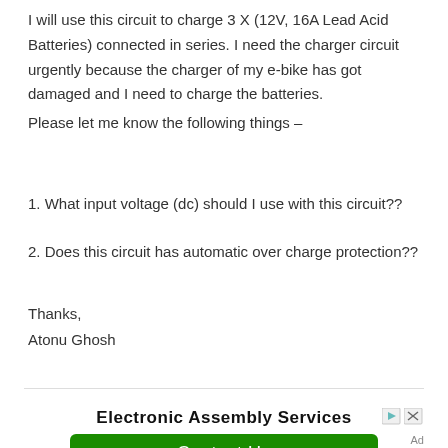I will use this circuit to charge 3 X (12V, 16A Lead Acid Batteries) connected in series. I need the charger circuit urgently because the charger of my e-bike has got damaged and I need to charge the batteries.
Please let me know the following things –
1. What input voltage (dc) should I use with this circuit??
2. Does this circuit has automatic over charge protection??
Thanks,
Atonu Ghosh
[Figure (infographic): Advertisement banner for Electronic Assembly Services with a green Contact Us button and ad controls (play and close icons). Small 'Ad' label in bottom right.]